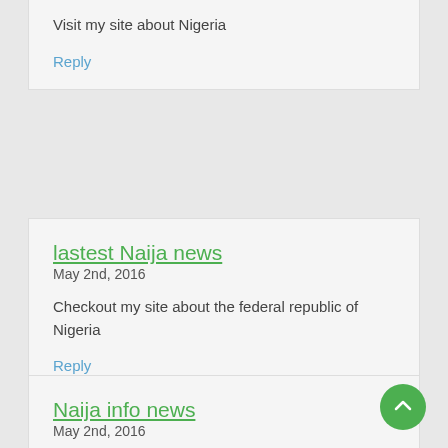Visit my site about Nigeria
Reply
lastest Naija news
May 2nd, 2016
Checkout my site about the federal republic of Nigeria
Reply
Naija info news
May 2nd, 2016
Checkout my site about Nigeria news